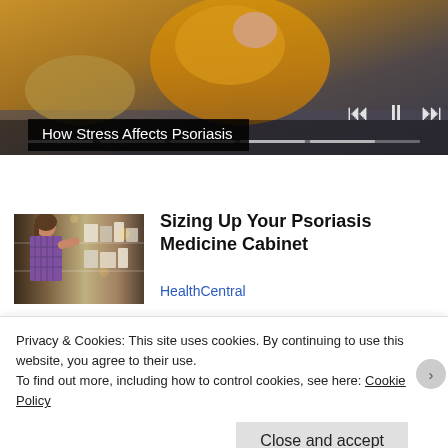[Figure (photo): Video player showing a person in a yellow sweater on a couch, with media controls (skip back, pause, skip forward) and a progress bar at the bottom]
How Stress Affects Psoriasis
[Figure (photo): Thumbnail of a woman in a store browsing pharmacy/medicine shelves]
Sizing Up Your Psoriasis Medicine Cabinet
HealthCentral
Privacy & Cookies: This site uses cookies. By continuing to use this website, you agree to their use.
To find out more, including how to control cookies, see here: Cookie Policy
Close and accept